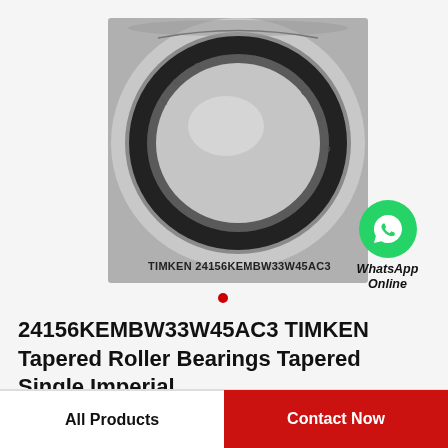[Figure (photo): Top-view photo of a TIMKEN tapered roller bearing (24156KEMBW33W45AC3) showing the inner ring and roller cage from above, with the part number printed at the bottom of the image.]
[Figure (logo): WhatsApp icon (green circle with white phone handset) with text 'WhatsApp Online' below it in bold italic.]
24156KEMBW33W45AC3 TIMKEN Tapered Roller Bearings Tapered Single Imperial
All Products
Contact Now